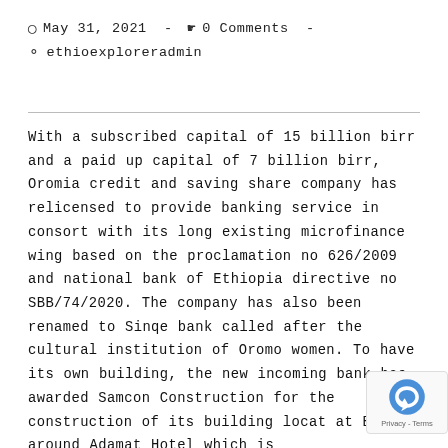May 31, 2021 - 0 Comments - ethioexploreradmin
With a subscribed capital of 15 billion birr and a paid up capital of 7 billion birr, Oromia credit and saving share company has relicensed to provide banking service in consort with its long existing microfinance wing based on the proclamation no 626/2009 and national bank of Ethiopia directive no SBB/74/2020. The company has also been renamed to Sinqe bank called after the cultural institution of Oromo women. To have its own building, the new incoming bank has awarded Samcon Construction for the construction of its building located at Bole around Adamat Hotel which is